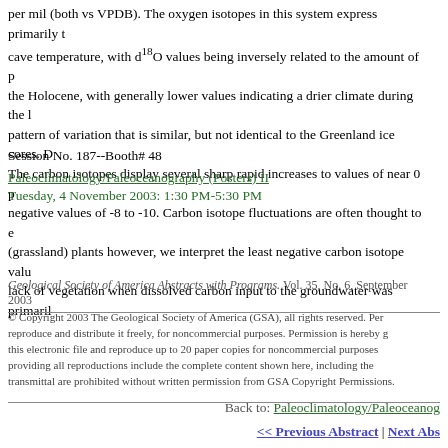per mil (both vs VPDB). The oxygen isotopes in this system express primarily the cave temperature, with d18O values being inversely related to the amount of precipitation during the Holocene, with generally lower values indicating a drier climate during the last glacial maximum in a pattern of variation that is similar, but not identical to the Greenland ice cores. D The carbon isotopes display several sharp rapid increases to values of near 0 per mil from more negative values of -8 to -10. Carbon isotope fluctuations are often thought to express the presence of C4 (grassland) plants however, we interpret the least negative carbon isotope values as reflecting a lack of vegetation when dissolved carbon input to the groundwater was primarily
Session No. 187--Booth# 48
Paleoclimatology/Paleoceanography (Posters) II
Tuesday, 4 November 2003: 1:30 PM-5:30 PM
Geological Society of America Abstracts with Programs. Vol. 35, No. 6, September 2003
© Copyright 2003 The Geological Society of America (GSA), all rights reserved. Permission is hereby granted to the author(s) of this abstract to reproduce and distribute it freely, for noncommercial purposes. Permission is hereby granted to any individual scientist to download a single copy of this electronic file and reproduce up to 20 paper copies for noncommercial purposes advancing science and education, including classroom use, providing all reproductions include the complete content shown here, including the author information. All other forms of reproduction and/or transmittal are prohibited without written permission from GSA Copyright Permissions.
Back to: Paleoclimatology/Paleoceanog
<< Previous Abstract | Next Abstract